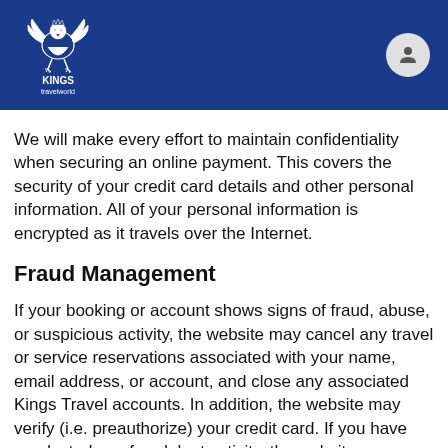Kings Travelworld
We will make every effort to maintain confidentiality when securing an online payment. This covers the security of your credit card details and other personal information. All of your personal information is encrypted as it travels over the Internet.
Fraud Management
If your booking or account shows signs of fraud, abuse, or suspicious activity, the website may cancel any travel or service reservations associated with your name, email address, or account, and close any associated Kings Travel accounts. In addition, the website may verify (i.e. preauthorize) your credit card. If you have conducted any fraudulent activity, the website reserves the right to take any necessary Criminal and/or Civil legal action and you may be liable for monetary losses to the website, including litigation costs and damages. To contest the